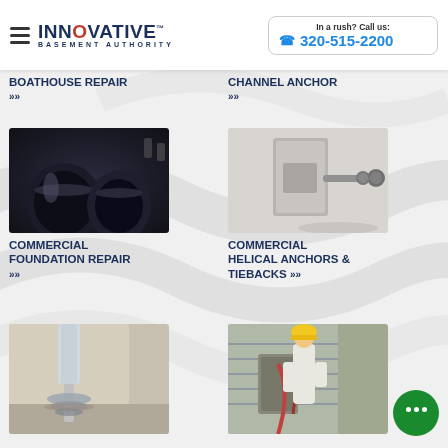Innovative Basement Authority | In a rush? Call us: 320-515-2200
BOATHOUSE REPAIR
CHANNEL ANCHOR
[Figure (photo): Close-up photo of dark industrial metal pipes in a workshop setting]
[Figure (photo): Photo of a metal channel anchor hardware piece with bolts and plate]
COMMERCIAL FOUNDATION REPAIR
COMMERCIAL HELICAL ANCHORS & TIEBACKS
[Figure (photo): Photo of a helical anchor screw driven into gravel/soil near a white pipe]
[Figure (photo): Photo of a worker in hard hat using equipment on a building foundation]